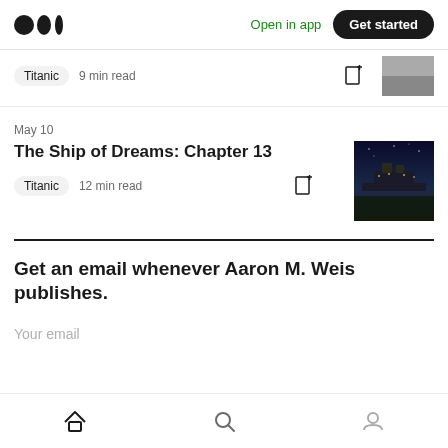Medium logo | Open in app | Get started
Titanic  9 min read
May 10
The Ship of Dreams: Chapter 13
Titanic  12 min read
Get an email whenever Aaron M. Weis publishes.
Your email